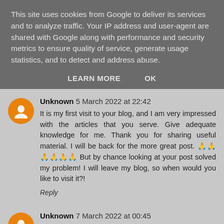This site uses cookies from Google to deliver its services and to analyze traffic. Your IP address and user-agent are shared with Google along with performance and security metrics to ensure quality of service, generate usage statistics, and to detect and address abuse.
LEARN MORE    OK
Unknown 5 March 2022 at 22:42
It is my first visit to your blog, and I am very impressed with the articles that you serve. Give adequate knowledge for me. Thank you for sharing useful material. I will be back for the more great post. 🙏🙏🙏🙏🙏🙏 But by chance looking at your post solved my problem! I will leave my blog, so when would you like to visit it?!
Reply
Unknown 7 March 2022 at 00:45
What a post I've been looking for! I'm very happy to